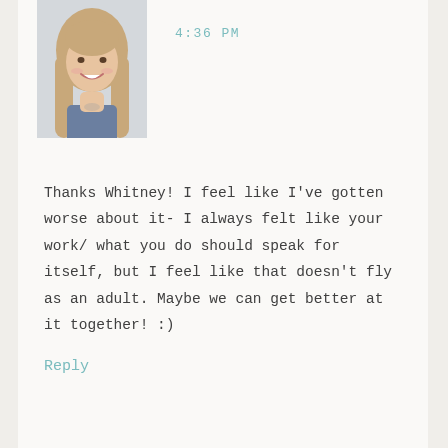[Figure (photo): Profile photo of a smiling woman with long blonde hair wearing a blue/denim top, cropped headshot]
4:36 PM
Thanks Whitney! I feel like I've gotten worse about it- I always felt like your work/ what you do should speak for itself, but I feel like that doesn't fly as an adult. Maybe we can get better at it together! :)
Reply